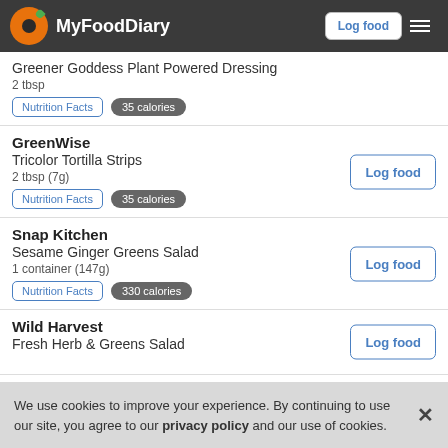MyFoodDiary
Greener Goddess Plant Powered Dressing
2 tbsp
35 calories
GreenWise
Tricolor Tortilla Strips
2 tbsp (7g)
35 calories
Snap Kitchen
Sesame Ginger Greens Salad
1 container (147g)
330 calories
Wild Harvest
Fresh Herb & Greens Salad
We use cookies to improve your experience. By continuing to use our site, you agree to our privacy policy and our use of cookies.